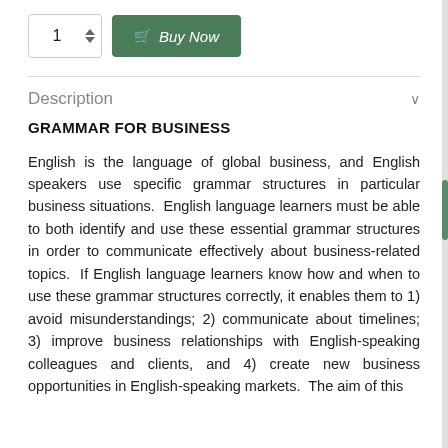[Figure (screenshot): E-commerce quantity selector showing '1' with up/down arrows and a green 'Buy Now' button with cart icon]
Description
GRAMMAR FOR BUSINESS
English is the language of global business, and English speakers use specific grammar structures in particular business situations.  English language learners must be able to both identify and use these essential grammar structures in order to communicate effectively about business-related topics.  If English language learners know how and when to use these grammar structures correctly, it enables them to 1) avoid misunderstandings; 2) communicate about timelines; 3) improve business relationships with English-speaking colleagues and clients, and 4) create new business opportunities in English-speaking markets.  The aim of this